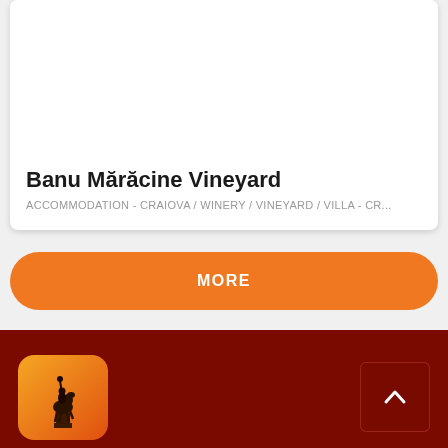Banu Mărăcine Vineyard
ACCOMMODATION - CRAIOVA / WINERY / VINEYARD / VILLA - CR...
MORE
[Figure (logo): Discover Dolj app logo: orange/yellow gradient background with silhouette of a horseman on pedestal raising arm]
DISCOVER DOLJ